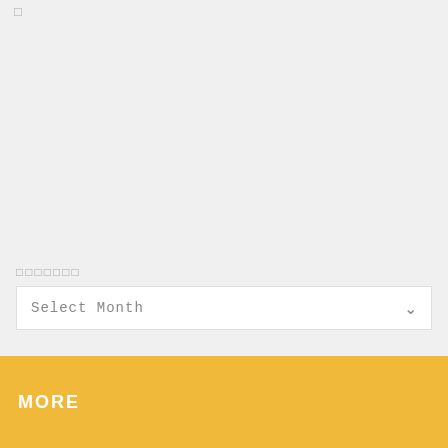□□□□□□□
□□□□□□□
Select Month
MORE